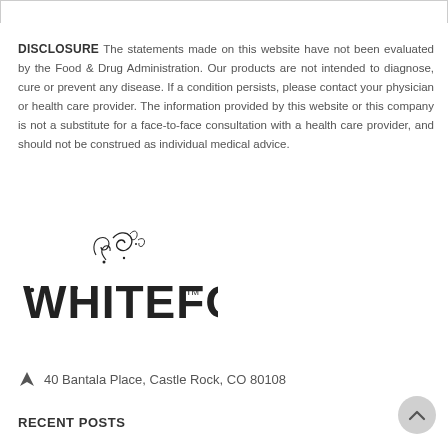DISCLOSURE The statements made on this website have not been evaluated by the Food & Drug Administration. Our products are not intended to diagnose, cure or prevent any disease. If a condition persists, please contact your physician or health care provider. The information provided by this website or this company is not a substitute for a face-to-face consultation with a health care provider, and should not be construed as individual medical advice.
[Figure (logo): White Fox branded logo with decorative swirl flourish above, bold stylized text reading WHITEFOX with TM mark]
40 Bantala Place, Castle Rock, CO 80108
RECENT POSTS